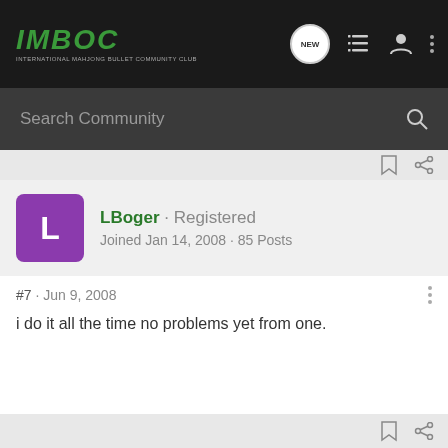IMBOC · INTERNATIONAL MAHJONG BULLET COMMUNITY CLUB
Search Community
LBoger · Registered
Joined Jan 14, 2008 · 85 Posts
#7 · Jun 9, 2008
i do it all the time no problems yet from one.